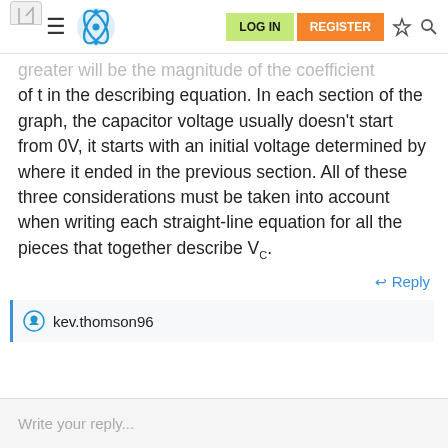LOG IN | REGISTER
greater will be the magnitude of the coefficient of t in the describing equation. In each section of the graph, the capacitor voltage usually doesn't start from 0V, it starts with an initial voltage determined by where it ended in the previous section. All of these three considerations must be taken into account when writing each straight-line equation for all the pieces that together describe V_C.
Reply
kev.thomson96
Write your reply...